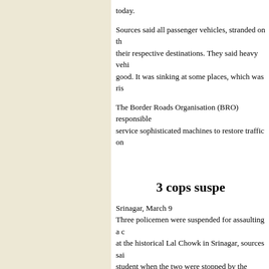today.
Sources said all passenger vehicles, stranded on their way to their respective destinations. They said heavy vehicles were not good. It was sinking at some places, which was risk...
The Border Roads Organisation (BRO) responsible... service sophisticated machines to restore traffic on...
3 cops suspe...
Srinagar, March 9
Three policemen were suspended for assaulting a c... at the historical Lal Chowk in Srinagar, sources sai... student when the two were stopped by the policem... Women's Day.
The incident sparked a protest as people present in...
| Punjab | Haryana | Jammu & Kashmir | Hi... | Business | Sport | World | Mailba... 50 years of Independer... | 123 Years of Trust | Calendar | Weat...